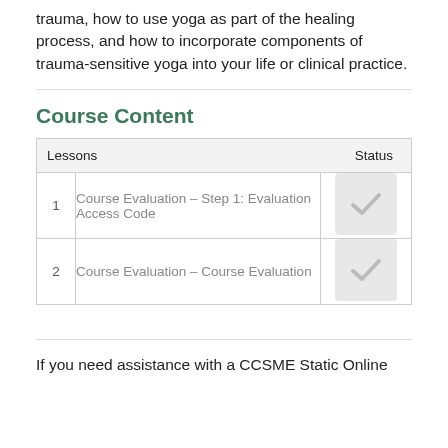trauma, how to use yoga as part of the healing process, and how to incorporate components of trauma-sensitive yoga into your life or clinical practice.
Course Content
| Lessons | Status |
| --- | --- |
| 1 | Course Evaluation – Step 1: Evaluation Access Code |  |
| 2 | Course Evaluation – Course Evaluation |  |
If you need assistance with a CCSME Static Online